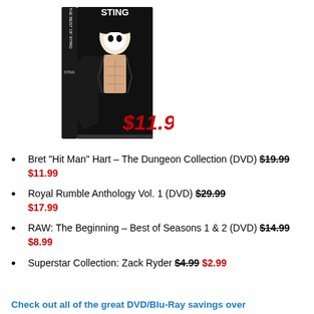[Figure (photo): WWE Sting DVD box set product image showing Sting in black leather jacket with face paint, with a red bold italic price overlay reading $11.99!]
Bret “Hit Man” Hart – The Dungeon Collection (DVD) $19.99 $11.99
Royal Rumble Anthology Vol. 1 (DVD) $29.99 $17.99
RAW: The Beginning – Best of Seasons 1 & 2 (DVD) $14.99 $8.99
Superstar Collection: Zack Ryder $4.99 $2.99
Check out all of the great DVD/Blu-Ray savings over